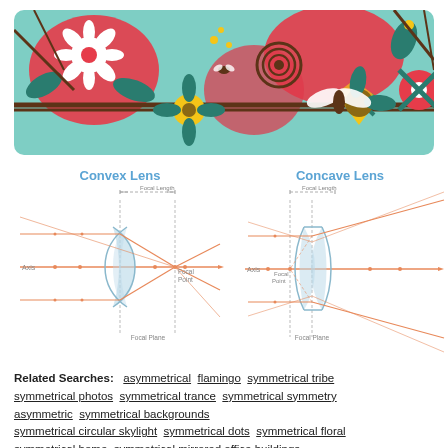[Figure (illustration): Colorful flat-design floral and insect illustration on teal/mint background featuring stylized flowers, beetles, bees, and decorative botanical elements in red, yellow, teal, and brown.]
[Figure (engineering-diagram): Two optical lens diagrams side by side. Left: Convex Lens diagram showing focal length, axis, focal point, focal plane with converging light rays. Right: Concave Lens diagram showing focal length, axis, focal point, focal plane with diverging light rays. Both diagrams use orange rays on white background with light blue lens shapes and dashed reference lines.]
Related Searches: asymmetrical flamingo symmetrical tribe symmetrical photos symmetrical trance symmetrical symmetry asymmetric symmetrical backgrounds symmetrical circular skylight symmetrical dots symmetrical floral symmetrical home symmetrical mirrored office buildings